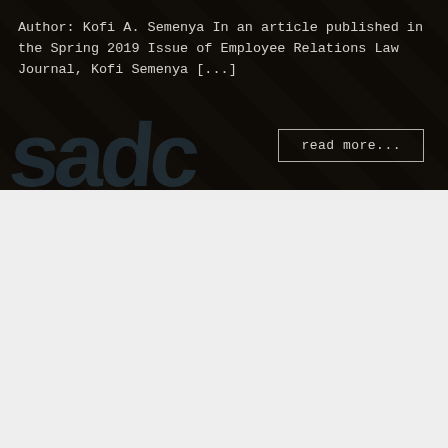[Figure (photo): Dark background image with diagonal shapes/panels and a blue watermark text, serving as backdrop for article preview.]
Author: Kofi A. Semenya In an article published in the Spring 2019 Issue of Employee Relations Law Journal, Kofi Semenya [...]
read more...